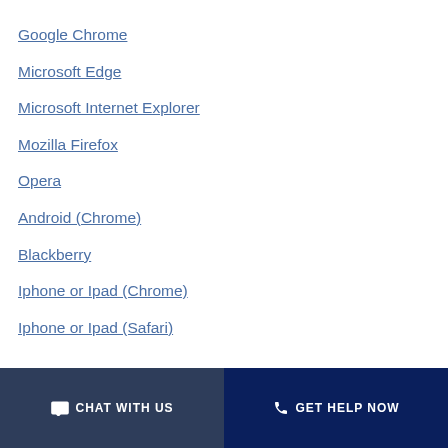Google Chrome
Microsoft Edge
Microsoft Internet Explorer
Mozilla Firefox
Opera
Android (Chrome)
Blackberry
Iphone or Ipad (Chrome)
Iphone or Ipad (Safari)
CHAT WITH US   GET HELP NOW